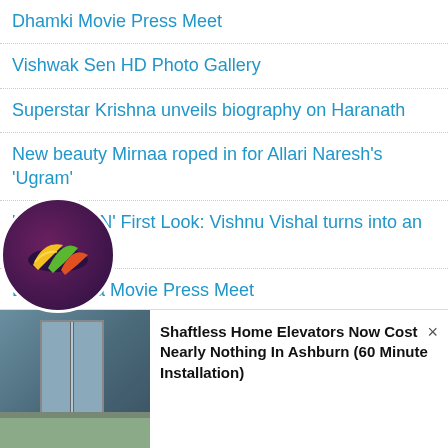Dhamki Movie Press Meet
Vishwak Sen HD Photo Gallery
Superstar Krishna unveils biography on Haranath
New beauty Mirnaa roped in for Allari Naresh's 'Ugram'
'A.A.R.Y.A.N' First Look: Vishnu Vishal turns into an angry cop!
Brahmastra Movie Press Meet
Big Boss Season 5 Finalist Maanas HD Photo Gallery
'Brahmastra': Jr NTR's fans upset as RFC event gets cancelled
'Ranga Ranga Vaibhavanga' Movie Review - Where is the 'vam'?
thi Chokarapu HD Photo Gallery
[Figure (logo): Circular logo with colorful bananas on dark purple background]
[Figure (photo): Advertisement image showing a home elevator in a kitchen setting]
Shaftless Home Elevators Now Cost Nearly Nothing In Ashburn (60 Minute Installation)